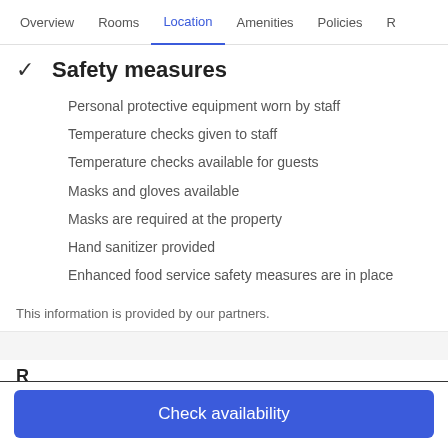Overview  Rooms  Location  Amenities  Policies  R
✓  Safety measures
Personal protective equipment worn by staff
Temperature checks given to staff
Temperature checks available for guests
Masks and gloves available
Masks are required at the property
Hand sanitizer provided
Enhanced food service safety measures are in place
This information is provided by our partners.
Check availability